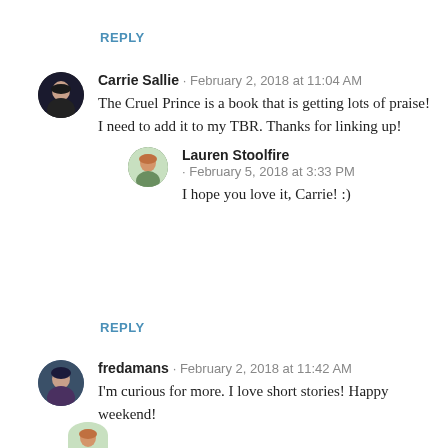REPLY
Carrie Sallie · February 2, 2018 at 11:04 AM
The Cruel Prince is a book that is getting lots of praise! I need to add it to my TBR. Thanks for linking up!
Lauren Stoolfire · February 5, 2018 at 3:33 PM
I hope you love it, Carrie! :)
REPLY
fredamans · February 2, 2018 at 11:42 AM
I'm curious for more. I love short stories! Happy weekend!